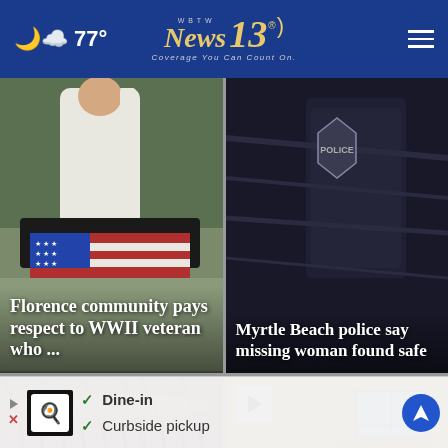77° | WBTW News 13 – Coverage You Can Count On.
[Figure (photo): News card: Person in white shirt near flag-draped casket with green foliage background. Headline overlay: Florence community pays respect to WWII veteran who ...]
[Figure (photo): News card: Close-up of dark navy fabric/uniform. Headline overlay: Myrtle Beach police say missing woman found safe]
[Figure (photo): News card: Close-up of person's hair/head, brownish-red tones]
[Figure (photo): News card: Video thumbnail with play button, person with blonde hair indoors, yellowish background]
Dine-in
Curbside pickup